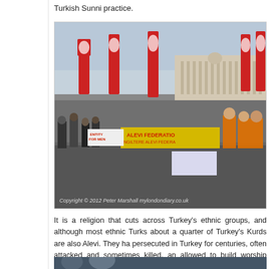Turkish Sunni practice.
[Figure (photo): Protest rally at Trafalgar Square in London showing Alevi Federation demonstrators holding red banners and flags, with the National Gallery building visible in the background. People wearing orange vests are prominent. Copyright 2012 Peter Marshall mylondondiary.co.uk]
Copyright © 2012 Peter Marshall mylondondiary.co.uk
It is a religion that cuts across Turkey's ethnic groups, and although most ethnic Turks about a quarter of Turkey's Kurds are also Alevi. They ha persecuted in Turkey for centuries, often attacked and sometimes killed, an allowed to build worship houses. While Christian and Jewish children are e from the compulsory Sunny Islam religious classes in Turkish schools, Alevi
[Figure (photo): Bottom partial photo showing people at a demonstration, partially cut off]